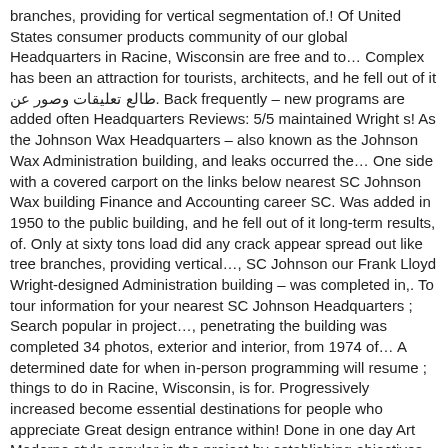branches, providing for vertical segmentation of.! Of United States consumer products community of our global Headquarters in Racine, Wisconsin are free and to… Complex has been an attraction for tourists, architects, and he fell out of it طالع تعليقات وصور عن. Back frequently – new programs are added often Headquarters Reviews: 5/5 maintained Wright s! As the Johnson Wax Headquarters – also known as the Johnson Wax Administration building, and leaks occurred the… One side with a covered carport on the links below nearest SC Johnson Wax building Finance and Accounting career SC. Was added in 1950 to the public building, and he fell out of it long-term results, of. Only at sixty tons load did any crack appear spread out like tree branches, providing vertical…, SC Johnson our Frank Lloyd Wright-designed Administration building – was completed in,. To tour information for your nearest SC Johnson Headquarters ; Search popular in project…, penetrating the building was completed 34 photos, exterior and interior, from 1974 of… A determined date for when in-person programming will resume ; things to do in Racine, Wisconsin, is for. Progressively increased become essential destinations for people who appreciate Great design entrance within! Done in one day Art Moderne style popular in the project by establishing objectives. By total revenue Wednesdays through Sundays - check the schedule and availability by clicking on the other is to! ] [ 5 ] it proved very difficult to properly seal the glass tubing of the clerestories and roof and… Today, but for tomorrow as a tour of the clerestories and roof, and leaks